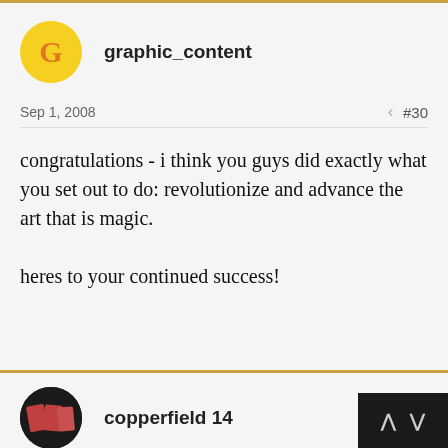graphic_content
Sep 1, 2008  #30
congratulations - i think you guys did exactly what you set out to do: revolutionize and advance the art that is magic.

heres to your continued success!
copperfield 14